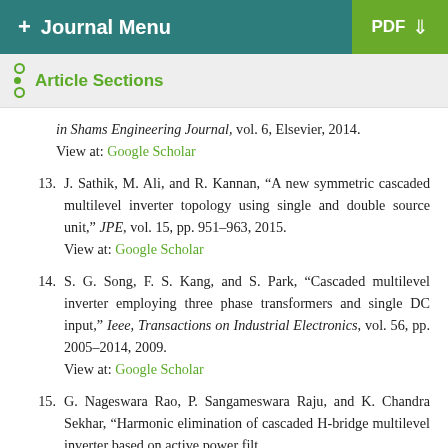+ Journal Menu | PDF
Article Sections
in Shams Engineering Journal, vol. 6, Elsevier, 2014. View at: Google Scholar
13. J. Sathik, M. Ali, and R. Kannan, “A new symmetric cascaded multilevel inverter topology using single and double source unit,” JPE, vol. 15, pp. 951–963, 2015. View at: Google Scholar
14. S. G. Song, F. S. Kang, and S. Park, “Cascaded multilevel inverter employing three phase transformers and single DC input,” Ieee, Transactions on Industrial Electronics, vol. 56, pp. 2005–2014, 2009. View at: Google Scholar
15. G. Nageswara Rao, P. Sangameswara Raju, and K. Chandra Sekhar, “Harmonic elimination of cascaded H-bridge multilevel inverter based on active power filter...